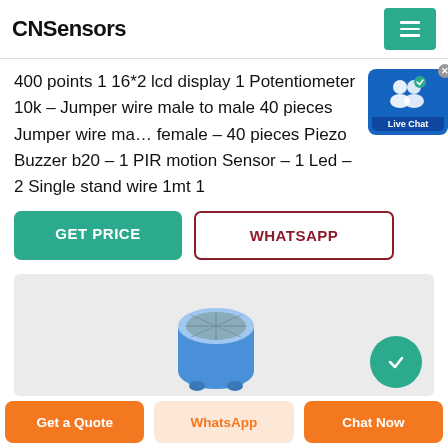CNSensors
400 points 1 16*2 lcd display 1 Potentiometer 10k – Jumper wire male to male 40 pieces Jumper wire male to female – 40 pieces Piezo Buzzer b20 – 1 PIR motion Sensor – 1 Led – 2 Single stand wire 1mt 1
[Figure (screenshot): Live Chat bubble with user icon and blue background]
[Figure (photo): Product image showing a blue piezo buzzer and a green circle/button on gray background]
Get a Quote | WhatsApp | Chat Now